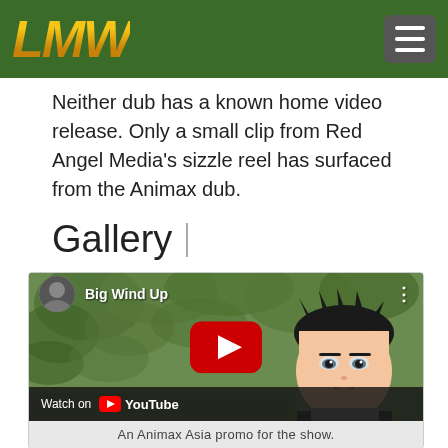LMW (logo) — navigation bar
Neither dub has a known home video release. Only a small clip from Red Angel Media's sizzle reel has surfaced from the Animax dub.
Gallery
[Figure (screenshot): Embedded YouTube video thumbnail showing an anime character (dark-haired male) against a green leafy background. Video title 'Big Wind Up'. Shows YouTube play button overlay and 'Watch on YouTube' bottom bar.]
An Animax Asia promo for the show.